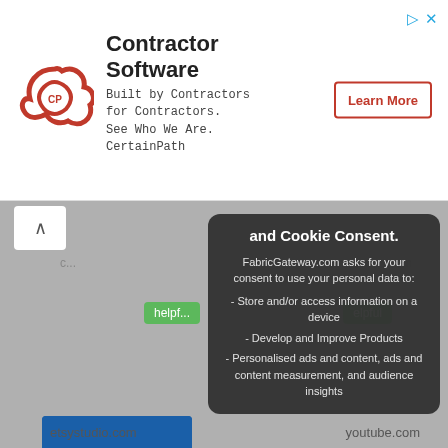[Figure (screenshot): Ad banner for Contractor Software by CertainPath with logo, tagline, and Learn More button]
Contractor Software
Built by Contractors for Contractors.
See Who We Are. CertainPath
Learn More
[Figure (screenshot): Background website content showing fabric images from etsystudio.com and youtube.com with helpful tags]
and Cookie Consent.
FabricGateway.com asks for your consent to use your personal data to:
- Store and/or access information on a device
- Develop and Improve Products
- Personalised ads and content, ads and content measurement, and audience insights
In order to provide a more personal user experience, we and our partners use technology such as cookies to store and/or access device information.
etsystudio.com
youtube.com